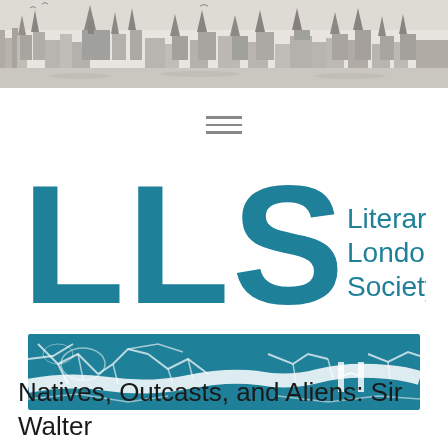[Figure (illustration): Historical panoramic engraving of London cityscape, black and white, showing old London skyline with churches, buildings, and the Thames with boats]
[Figure (logo): Literary London Society logo: large teal letters LLS with full name 'Literary London Society' to the right]
[Figure (map): Teal-colored banner showing a stylized map of London including the River Thames winding through the city]
Natives, Outcasts, and Aliens: Sir Walter